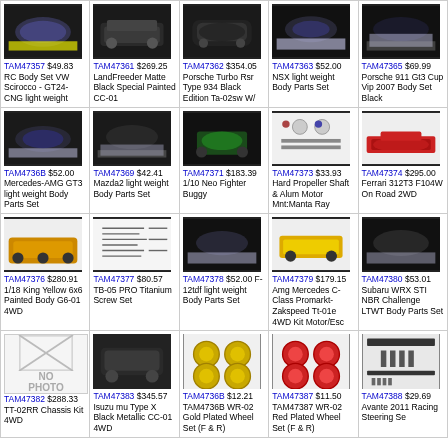TAM47357 $49.83 RC Body Set VW Scirocco - GT24-CNG light weight
TAM47361 $269.25 LandFreeder Matte Black Special Painted CC-01
TAM47362 $354.05 Porsche Turbo Rsr Type 934 Black Edition Ta-02sw W/
TAM47363 $52.00 NSX light weight Body Parts Set
TAM47365 $69.99 Porsche 911 Gt3 Cup Vip 2007 Body Set Black
TAM4736B $52.00 Mercedes-AMG GT3 light weight Body Parts Set
TAM47369 $42.41 Mazda2 light weight Body Parts Set
TAM47371 $183.39 1/10 Neo Fighter Buggy
TAM47373 $33.93 Hard Propeller Shaft & Alum Motor Mnt:Manta Ray
TAM47374 $295.00 Ferrari 312T3 F104W On Road 2WD
TAM47376 $280.91 1/18 King Yellow 6x6 Painted Body G6-01 4WD
TAM47377 $80.57 TB-05 PRO Titanium Screw Set
TAM47378 $52.00 F-12tdf light weight Body Parts Set
TAM47379 $179.15 Amg Mercedes C-Class Promarkt-Zakspeed Tt-01e 4WD Kit Motor/Esc
TAM47380 $53.01 Subaru WRX STI NBR Challenge LTWT Body Parts Set
TAM47382 $288.33 TT-02RR Chassis Kit 4WD
TAM47383 $345.57 Isuzu mu Type X Black Metallic CC-01 4WD
TAM4736B $12.21 TAM4736B WR-02 Gold Plated Wheel Set (F & R)
TAM47387 $11.50 TAM47387 WR-02 Red Plated Wheel Set (F & R)
TAM47388 $29.69 Avante 2011 Racing Steering Se